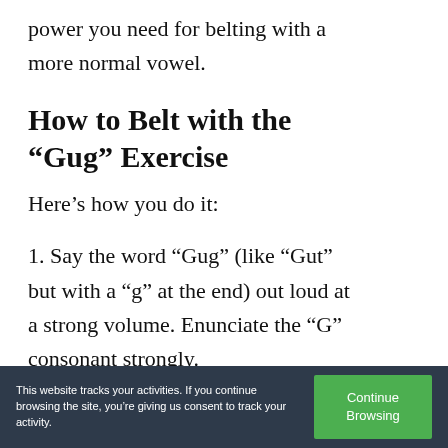power you need for belting with a more normal vowel.
How to Belt with the “Gug” Exercise
Here’s how you do it:
1. Say the word “Gug” (like “Gut” but with a “g” at the end) out loud at a strong volume. Enunciate the “G” consonant strongly.
This website tracks your activities. If you continue browsing the site, you’re giving us consent to track your activity. Continue Browsing